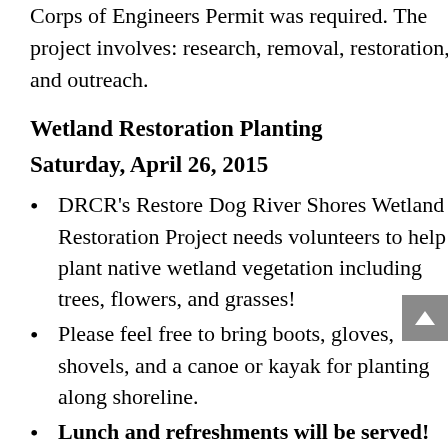Corps of Engineers Permit was required. The project involves: research, removal, restoration, and outreach.
Wetland Restoration Planting
Saturday, April 26, 2015
DRCR's Restore Dog River Shores Wetland Restoration Project needs volunteers to help plant native wetland vegetation including trees, flowers, and grasses!
Please feel free to bring boots, gloves, shovels, and a canoe or kayak for planting along shoreline.
Lunch and refreshments will be served!